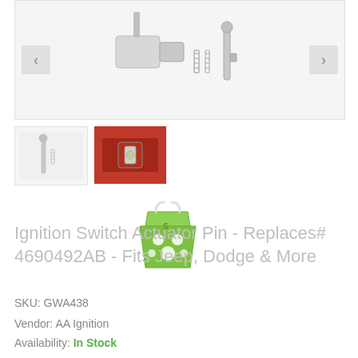[Figure (photo): Main product image showing ignition switch actuator pin parts — a connector component, springs, and a pin on a white/light gray background, with left and right navigation arrows]
[Figure (photo): Thumbnail 1: ignition switch actuator pin parts on white background]
[Figure (photo): Thumbnail 2: close-up photo of ignition switch installed in vehicle, reddish-orange background]
[Figure (illustration): Shopify shopping bag logo in green with white polka dots]
Ignition Switch Actuator Pin - Replaces# 4690492AB - Fits Jeep, Dodge & More
SKU: GWA438
Vendor: AA Ignition
Availability: In Stock